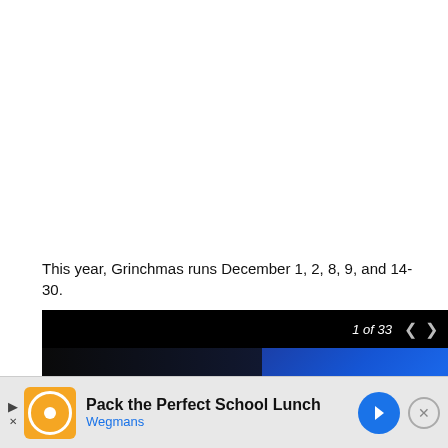This year, Grinchmas runs December 1, 2, 8, 9, and 14-30.
[Figure (screenshot): Photo gallery strip with navigation showing '1 of 33' with left and right arrows. Dark image with blue tones visible below the nav bar.]
[Figure (screenshot): Advertisement banner for Wegmans: 'Pack the Perfect School Lunch' with Wegmans logo, play/close controls, and a blue navigation arrow.]